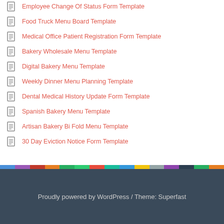Employee Change Of Status Form Template
Food Truck Menu Board Template
Medical Office Patient Registration Form Template
Bakery Wholesale Menu Template
Digital Bakery Menu Template
Weekly Dinner Menu Planning Template
Dental Medical History Update Form Template
Spanish Bakery Menu Template
Artisan Bakery Bi Fold Menu Template
30 Day Eviction Notice Form Template
Proudly powered by WordPress / Theme: Superfast